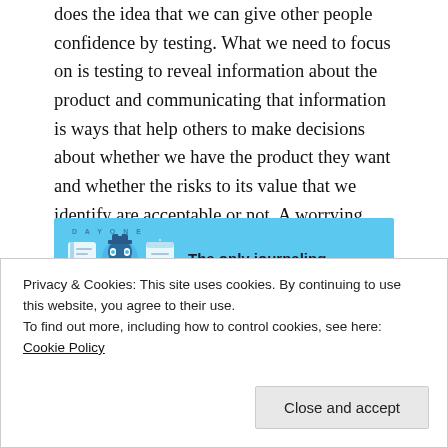does the idea that we can give other people confidence by testing. What we need to focus on is testing to reveal information about the product and communicating that information is ways that help others to make decisions about whether we have the product they want and whether the risks to its value that we identify are acceptable or not. A worrying 15% of responses to this question were “To have zero defects”.
[Figure (illustration): Advertisement for Day One journaling app with light blue background, showing app icons and the text 'The only journaling app you'll ever need.']
Privacy & Cookies: This site uses cookies. By continuing to use this website, you agree to their use. To find out more, including how to control cookies, see here: Cookie Policy
topics face (at 60%). Thinking of testing in this ‘types’ sort of